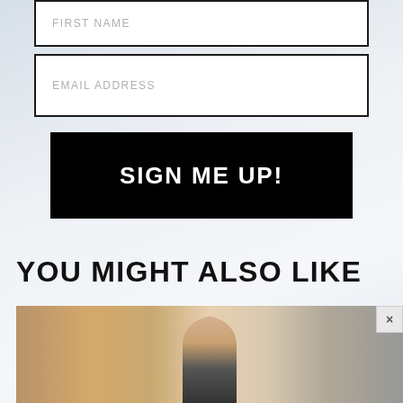[Figure (other): Form input field with placeholder text FIRST NAME, white background with dark border]
[Figure (other): Form input field with placeholder text EMAIL ADDRESS, white background with dark border]
[Figure (other): Black button with white bold text SIGN ME UP!]
YOU MIGHT ALSO LIKE
[Figure (photo): Photo of a person, partially visible, warm toned background, with a close/X button overlay in the upper right corner]